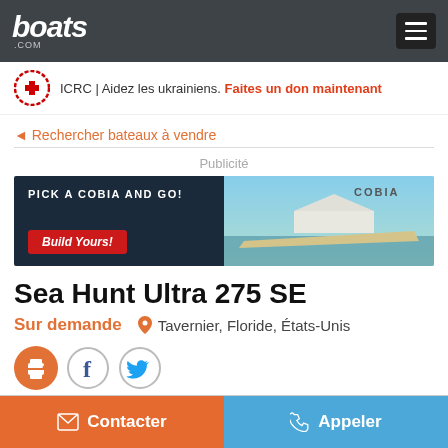boats.com
[Figure (infographic): ICRC Red Cross banner ad: ICRC | Aidez les ukrainiens. Faites un don maintenant]
◄ Rechercher bateaux à vendre
[Figure (infographic): Cobia boat advertisement banner: PICK A COBIA AND GO! Build Yours!]
Sea Hunt Ultra 275 SE
Sur demande   📍 Tavernier, Floride, États-Unis
[Figure (infographic): Social sharing icons: print (orange circle), Facebook (f), Twitter (bird)]
Contacter
Appeler